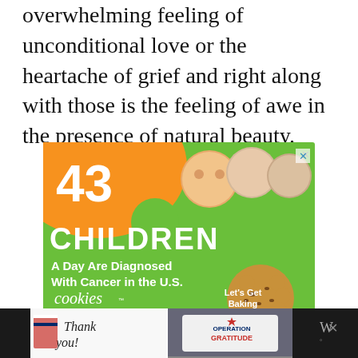overwhelming feeling of unconditional love or the heartache of grief and right along with those is the feeling of awe in the presence of natural beauty.
[Figure (illustration): Advertisement for Cookies for Kids' Cancer. Green and orange background with large bold text: '43 CHILDREN A Day Are Diagnosed With Cancer in the U.S.' with photos of three children at top right. Bottom left shows 'cookies for kids' cancer' logo and bottom right shows a cookie shape with 'Let's Get Baking' text.]
[Figure (illustration): Banner advertisement at bottom of page on dark background. Left side shows 'Thank you!' text with an American flag pencil graphic and firefighters photo. Right side shows 'Operation Gratitude' logo with star graphic. Far right shows a close button and speaker icon.]